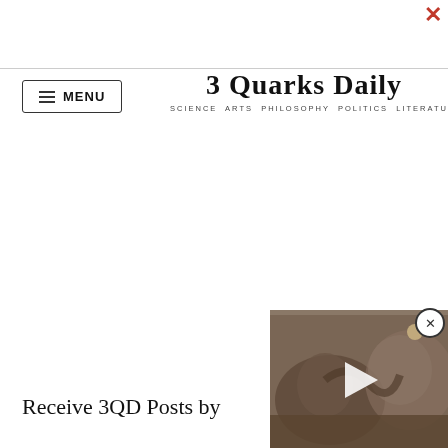3 Quarks Daily — SCIENCE ARTS PHILOSOPHY POLITICS LITERATURE
Receive 3QD Posts by
[Figure (screenshot): Video thumbnail showing a bird or snake animal scene with a white play button triangle in the center, overlaid on the bottom-right of the page. A circular close (X) button appears at the top-right of the video overlay.]